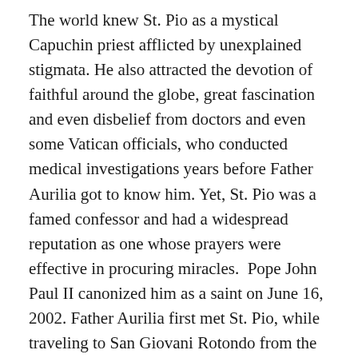The world knew St. Pio as a mystical Capuchin priest afflicted by unexplained stigmata. He also attracted the devotion of faithful around the globe, great fascination and even disbelief from doctors and even some Vatican officials, who conducted medical investigations years before Father Aurilia got to know him. Yet, St. Pio was a famed confessor and had a widespread reputation as one whose prayers were effective in procuring miracles.  Pope John Paul II canonized him as a saint on June 16, 2002. Father Aurilia first met St. Pio, while traveling to San Giovani Rotondo from the Capuchin sem inary about 50 miles away. After his ordination 1966, the priest was assigned to the future saint as his personal secretary in August 1967. He and several other secretaries — fluent in English, Italian, French, Spanish, and German and Eastern European languages — would answer up to four sacks of letters from faithful around the world. They would send out correspondence almost like a form letter, declaring, “Padre Pio is praying for you” and “Continue to be a good